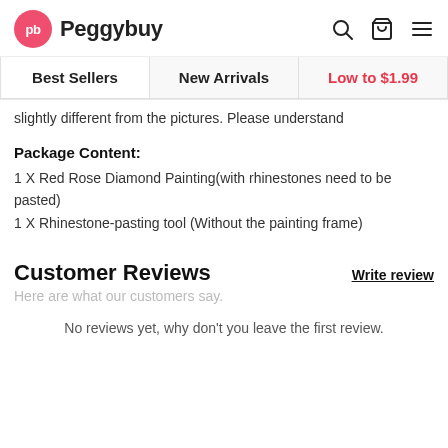Peggybuy
Best Sellers   New Arrivals   Low to $1.99
slightly different from the pictures. Please understand
Package Content:
1 X Red Rose Diamond Painting(with rhinestones need to be pasted)
1 X Rhinestone-pasting tool (Without the painting frame)
Customer Reviews
Here are what our customers say.
No reviews yet, why don't you leave the first review.